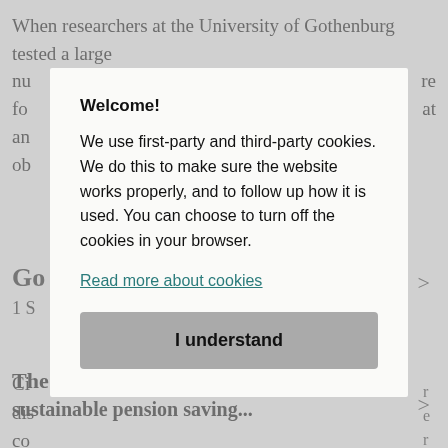When researchers at the University of Gothenburg tested a large nu...re fo...at an... ob...
Go... 1 S...
Ci... dis... co... fe... e Un... r de...
The power to change is a key driver for sustainable pension saving...
Welcome!
We use first-party and third-party cookies. We do this to make sure the website works properly, and to follow up how it is used. You can choose to turn off the cookies in your browser.
Read more about cookies
I understand